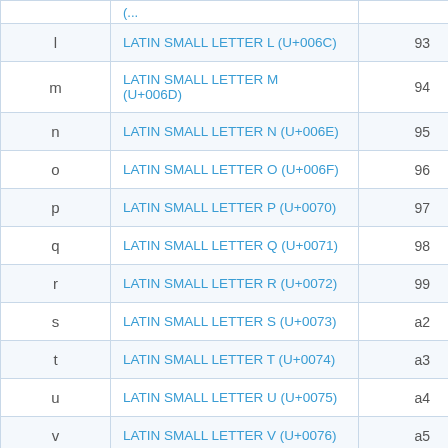| (character) | (unicode name) | (code) |
| --- | --- | --- |
| l | LATIN SMALL LETTER L (U+006C) | 93 |
| m | LATIN SMALL LETTER M (U+006D) | 94 |
| n | LATIN SMALL LETTER N (U+006E) | 95 |
| o | LATIN SMALL LETTER O (U+006F) | 96 |
| p | LATIN SMALL LETTER P (U+0070) | 97 |
| q | LATIN SMALL LETTER Q (U+0071) | 98 |
| r | LATIN SMALL LETTER R (U+0072) | 99 |
| s | LATIN SMALL LETTER S (U+0073) | a2 |
| t | LATIN SMALL LETTER T (U+0074) | a3 |
| u | LATIN SMALL LETTER U (U+0075) | a4 |
| v | LATIN SMALL LETTER V (U+0076) | a5 |